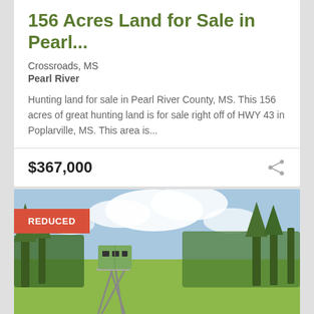156 Acres Land for Sale in Pearl...
Crossroads, MS
Pearl River
Hunting land for sale in Pearl River County, MS. This 156 acres of great hunting land is for sale right off of HWY 43 in Poplarville, MS. This area is...
$367,000
[Figure (photo): Outdoor photo of hunting land showing a green elevated hunting blind/stand on metal legs in the foreground, with a cleared green field and rows of pine trees in the background under a partly cloudy sky. A red 'REDUCED' badge is overlaid in the top-left corner.]